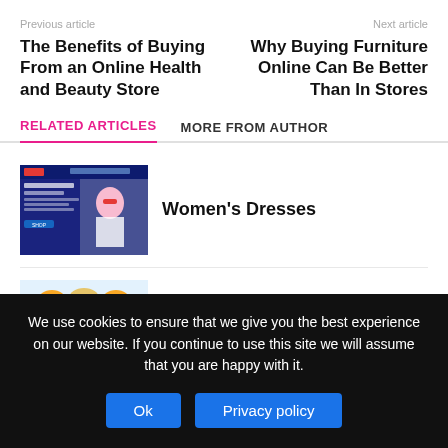Previous article
Next article
The Benefits of Buying From an Online Health and Beauty Store
Why Buying Furniture Online Can Be Better Than In Stores
RELATED ARTICLES
MORE FROM AUTHOR
[Figure (screenshot): Thumbnail image of a women's clothing website showing a woman in sunglasses]
Women's Dresses
[Figure (photo): Thumbnail showing three blonde women shopping]
Buy Womens Clothing Online
We use cookies to ensure that we give you the best experience on our website. If you continue to use this site we will assume that you are happy with it.